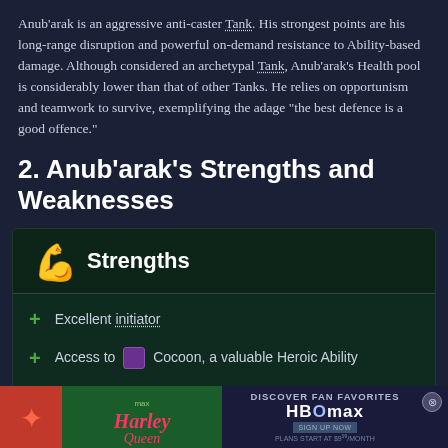Anub'arak is an aggressive anti-caster Tank. His strongest points are his long-range disruption and powerful on-demand resistance to Ability-based damage. Although considered an archetypal Tank, Anub'arak's Health pool is considerably lower than that of other Tanks. He relies on opportunism and teamwork to survive, exemplifying the adage "the best defence is a good offence."
2. Anub'arak's Strengths and Weaknesses
[Figure (infographic): Strengths panel with green muscle icon header, listing: Excellent initiator, Access to Cocoon a valuable Heroic Ability, Several long-range interruption Abilities]
[Figure (screenshot): Advertisement banner: HBO Max - Discover Fan Favorites, Plans start at $9/month, with Harley Quinn show imagery]